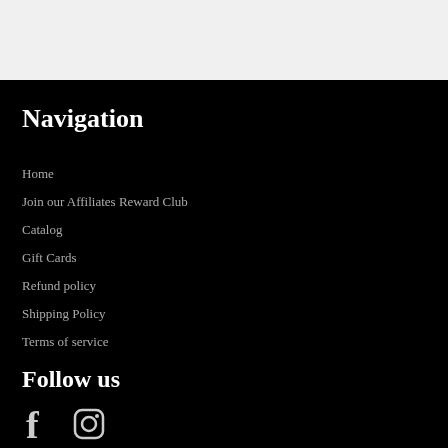Navigation
Home
Join our Affiliates Reward Club
Catalog
Gift Cards
Refund policy
Shipping Policy
Terms of service
Follow us
[Figure (illustration): Facebook and Instagram social media icons in white/grey on black background]